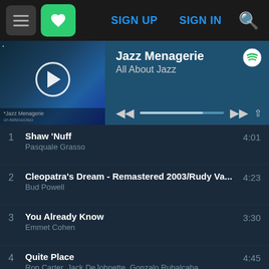Navigation bar with menu, heart/favorites button, SIGN UP, SIGN IN, and search icon
[Figure (screenshot): Music player widget showing Jazz Menagerie playlist on All About Jazz with album art, play button, progress bar, and Spotify icon]
1  Shaw 'Nuff  4:01
Pasquale Grasso
2  Cleopatra's Dream - Remastered 2003/Rudy Va...  4:23
Bud Powell
3  You Already Know  3:30
Emmet Cohen
4  Quite Place  4:45
Ron Carter, Jack DeJohnette, Gonzalo Rubalcaba
5  Disco Ears  6:21
Joshua Redman, Brad Mehldau, Brian Blade, Chr...
6  S...  5:5...
In-store shopping (advertisement)